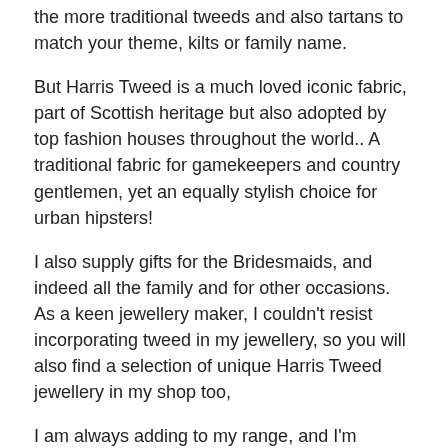the more traditional tweeds and also tartans to match your theme, kilts or family name.
But Harris Tweed is a much loved iconic fabric, part of Scottish heritage but also adopted by top fashion houses throughout the world.. A traditional fabric for gamekeepers and country gentlemen, yet an equally stylish choice for urban hipsters!
I also supply gifts for the Bridesmaids, and indeed all the family and for other occasions. As a keen jewellery maker, I couldn't resist incorporating tweed in my jewellery, so you will also find a selection of unique Harris Tweed jewellery in my shop too,
I am always adding to my range, and I'm currently working on some rather nice rustic- themed corsages and boutonnières which will shortly be appearing in my shop